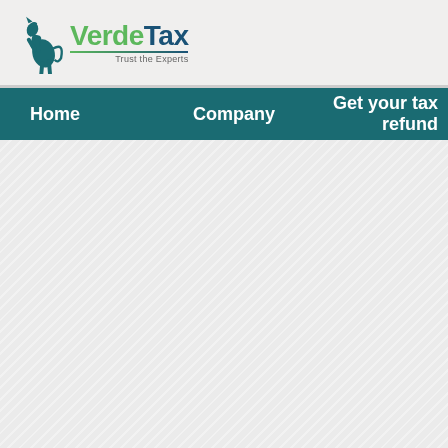[Figure (logo): VerdeTax logo with teal rearing horse icon, green 'Verde' and dark teal 'Tax' text, tagline 'Trust the Experts', with underline accent]
Home   Company   Get your tax refund